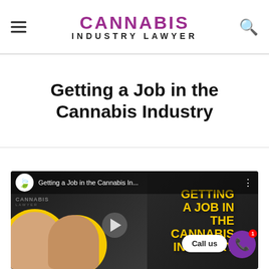CANNABIS INDUSTRY LAWYER
Getting a Job in the Cannabis Industry
[Figure (screenshot): YouTube video thumbnail for 'Getting a Job in the Cannabis In...' showing two people with yellow circle backgrounds, large yellow text reading GETTING A JOB IN THE CANNABIS INDUSTRY on the right side, with Cannabis Industry Lawyer logo in top left, a Call us button and purple phone call button in the bottom right corner.]